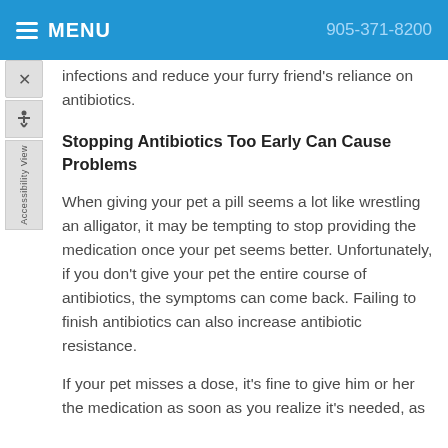MENU | 905-371-8200
infections and reduce your furry friend's reliance on antibiotics.
Stopping Antibiotics Too Early Can Cause Problems
When giving your pet a pill seems a lot like wrestling an alligator, it may be tempting to stop providing the medication once your pet seems better. Unfortunately, if you don't give your pet the entire course of antibiotics, the symptoms can come back. Failing to finish antibiotics can also increase antibiotic resistance.
If your pet misses a dose, it's fine to give him or her the medication as soon as you realize it's needed, as